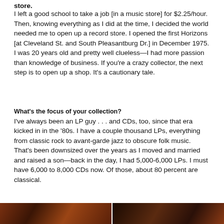store.
I left a good school to take a job [in a music store] for $2.25/hour. Then, knowing everything as I did at the time, I decided the world needed me to open up a record store. I opened the first Horizons [at Cleveland St. and South Pleasantburg Dr.] in December 1975. I was 20 years old and pretty well clueless—I had more passion than knowledge of business. If you're a crazy collector, the next step is to open up a shop. It's a cautionary tale.
What's the focus of your collection?
I've always been an LP guy . . . and CDs, too, since that era kicked in in the '80s. I have a couple thousand LPs, everything from classic rock to avant-garde jazz to obscure folk music. That's been downsized over the years as I moved and married and raised a son—back in the day, I had 5,000-6,000 LPs. I must have 6,000 to 8,000 CDs now. Of those, about 80 percent are classical.
[Figure (photo): Two photographs side by side at the bottom of the page, dark toned images]